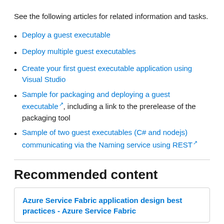See the following articles for related information and tasks.
Deploy a guest executable
Deploy multiple guest executables
Create your first guest executable application using Visual Studio
Sample for packaging and deploying a guest executable [external link], including a link to the prerelease of the packaging tool
Sample of two guest executables (C# and nodejs) communicating via the Naming service using REST [external link]
Recommended content
Azure Service Fabric application design best practices - Azure Service Fabric